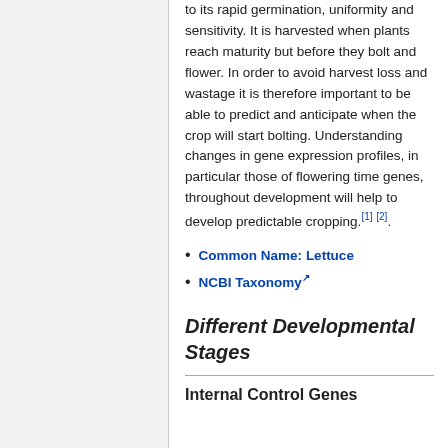to its rapid germination, uniformity and sensitivity. It is harvested when plants reach maturity but before they bolt and flower. In order to avoid harvest loss and wastage it is therefore important to be able to predict and anticipate when the crop will start bolting. Understanding changes in gene expression profiles, in particular those of flowering time genes, throughout development will help to develop predictable cropping.[1] [2].
Common Name: Lettuce
NCBI Taxonomy
Different Developmental Stages
Internal Control Genes